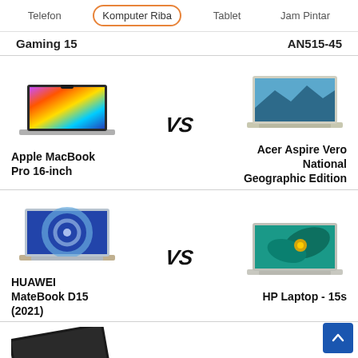Telefon | Komputer Riba | Tablet | Jam Pintar
Gaming 15 vs AN515-45
[Figure (screenshot): Apple MacBook Pro 16-inch laptop vs Acer Aspire Vero National Geographic Edition laptop comparison card with VS badge in center]
Apple MacBook Pro 16-inch vs Acer Aspire Vero National Geographic Edition
[Figure (screenshot): HUAWEI MateBook D15 (2021) laptop vs HP Laptop - 15s comparison card with VS badge in center]
HUAWEI MateBook D15 (2021) vs HP Laptop - 15s
[Figure (screenshot): Partial view of another laptop at the bottom of the page]